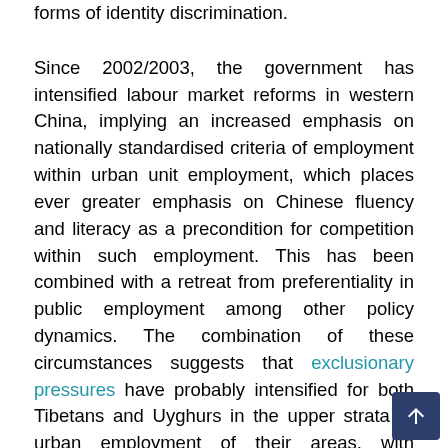forms of identity discrimination.
Since 2002/2003, the government has intensified labour market reforms in western China, implying an increased emphasis on nationally standardised criteria of employment within urban unit employment, which places ever greater emphasis on Chinese fluency and literacy as a precondition for competition within such employment. This has been combined with a retreat from preferentiality in public employment among other policy dynamics. The combination of these circumstances suggests that exclusionary pressures have probably intensified for both Tibetans and Uyghurs in the upper strata of urban employment of their areas, with important implications in terms of